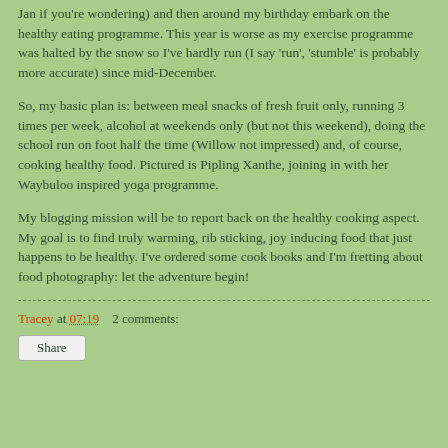Jan if you're wondering) and then around my birthday embark on the healthy eating programme. This year is worse as my exercise programme was halted by the snow so I've hardly run (I say 'run', 'stumble' is probably more accurate) since mid-December.
So, my basic plan is: between meal snacks of fresh fruit only, running 3 times per week, alcohol at weekends only (but not this weekend), doing the school run on foot half the time (Willow not impressed) and, of course, cooking healthy food. Pictured is Pipling Xanthe, joining in with her Waybuloo inspired yoga programme.
My blogging mission will be to report back on the healthy cooking aspect. My goal is to find truly warming, rib sticking, joy inducing food that just happens to be healthy. I've ordered some cook books and I'm fretting about food photography: let the adventure begin!
Tracey at 07:19    2 comments:
Share